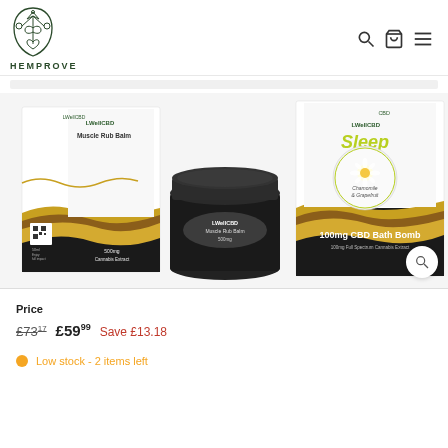[Figure (logo): Hemprove brand logo: circular geometric botanical illustration above the text HEMPROVE]
[Figure (photo): Product photo showing LWellCBD Muscle Rub Balm box with lid open showing the black balm container, and LWellCBD Sleep 100mg CBD Bath Bomb box with Chamomile & Grapefruit scent]
Price
£73.17  £59.99  Save £13.18
Low stock - 2 items left